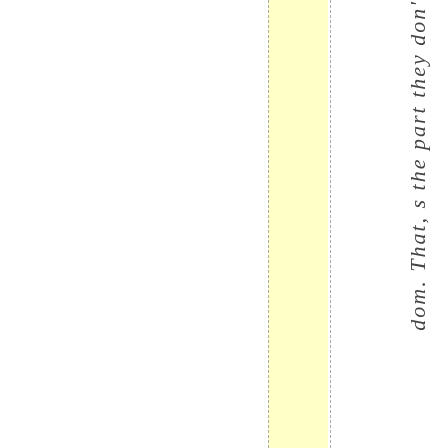dom. That, s the part they don'